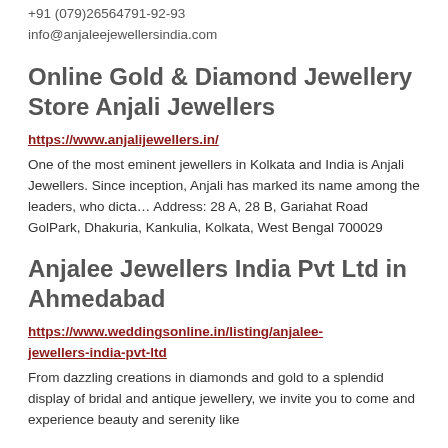+91 (079)26564791-92-93
info@anjaleejewellersindia.com
Online Gold & Diamond Jewellery Store Anjali Jewellers
https://www.anjalijewellers.in/
One of the most eminent jewellers in Kolkata and India is Anjali Jewellers. Since inception, Anjali has marked its name among the leaders, who dicta… Address: 28 A, 28 B, Gariahat Road GolPark, Dhakuria, Kankulia, Kolkata, West Bengal 700029
Anjalee Jewellers India Pvt Ltd in Ahmedabad
https://www.weddingsonline.in/listing/anjalee-jewellers-india-pvt-ltd
From dazzling creations in diamonds and gold to a splendid display of bridal and antique jewellery, we invite you to come and experience beauty and serenity like